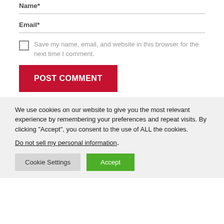Name*
Email*
Save my name, email, and website in this browser for the next time I comment.
POST COMMENT
We use cookies on our website to give you the most relevant experience by remembering your preferences and repeat visits. By clicking "Accept", you consent to the use of ALL the cookies.
Do not sell my personal information.
Cookie Settings
Accept